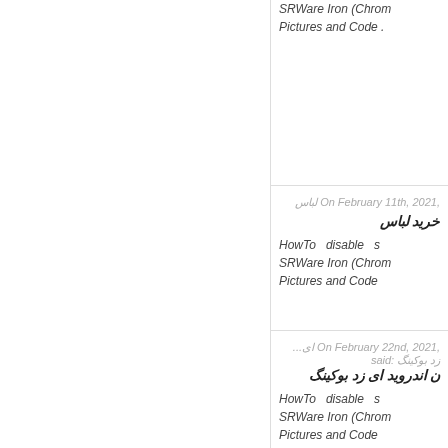SRWare Iron (Chrom... Pictures and Code .
On February 11th, 2021, لباس
خرید لباس
HowTo disable s... SRWare Iron (Chrom... Pictures and Code
On February 22nd, 2021, ای... زد بوکینگ said:
ن اندروید ای زد بوکینگ
HowTo disable s... SRWare Iron (Chrom... Pictures and Code